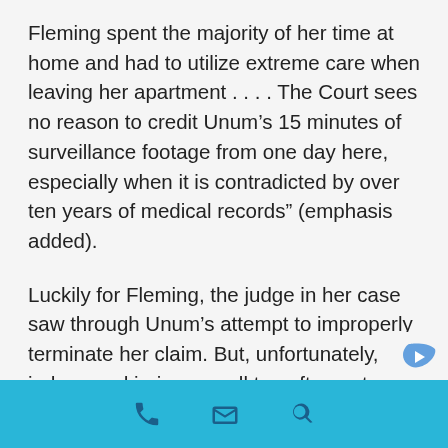Fleming spent the majority of her time at home and had to utilize extreme care when leaving her apartment . . . . The Court sees no reason to credit Unum’s 15 minutes of surveillance footage from one day here, especially when it is contradicted by over ten years of medical records” (emphasis added).
Luckily for Fleming, the judge in her case saw through Unum’s attempt to improperly terminate her claim. But, unfortunately, judges and juries can all too often put undue weight on
phone | email | search